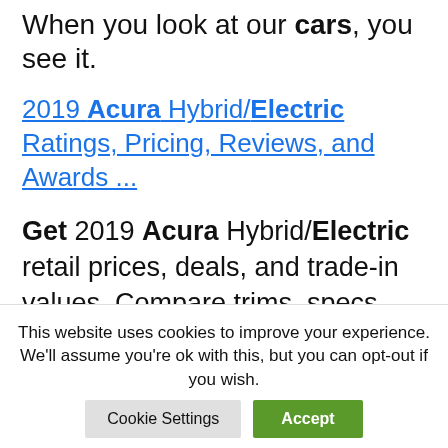When you look at our cars, you see it.
2019 Acura Hybrid/Electric Ratings, Pricing, Reviews, and Awards ...
Get 2019 Acura Hybrid/Electric retail prices, deals, and trade-in values. Compare trims, specs and see J.D. Power overall ratings.
Report: Acura EV to be made in Tennessee, alongside Cadillac Lyriq
This website uses cookies to improve your experience. We'll assume you're ok with this, but you can opt-out if you wish.